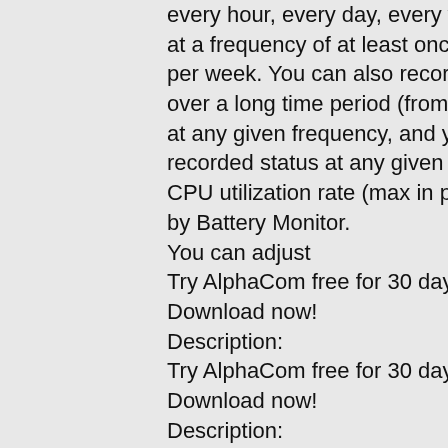every hour, every day, every week, every month, every year, at a frequency of at least once per hour, and at most once per week. You can also record the status of your battery over a long time period (from a few months to a few years) at any given frequency, and you can easily retrieve all recorded status at any given frequency. You can also set the CPU utilization rate (max in percent) that is to be recorded by Battery Monitor. You can adjust Try AlphaCom free for 30 days, no restrictions, no ads. Download now! Description: Try AlphaCom free for 30 days, no restrictions, no ads. Download now! Description: Try AlphaCom free for 30 days, no restrictions, no ads. Download now! Description: Try AlphaCom free for 30 days...
[Figure (photo): Outdoor nature photo showing green grass, trees with bokeh light, and vegetation in the background.]